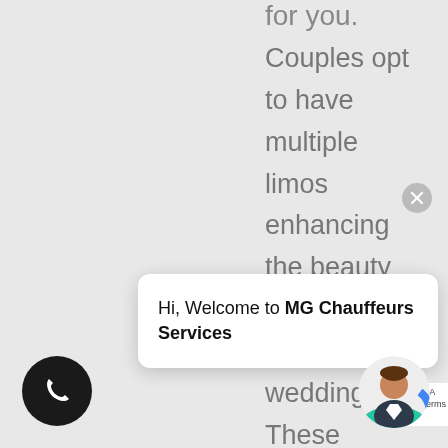for you.
Couples opt to have multiple limos enhancing the beauty and style of their weddings. These usually include the groom’s men’s limo, the bridal party limo, the family or parents’ limo and finally the most lavish and stylish bride’s limo, to ride with the groom to their hone The Merc number one choice for wedding limo hire in Warrandyte. This is
Hi, Welcome to MG Chauffeurs Services